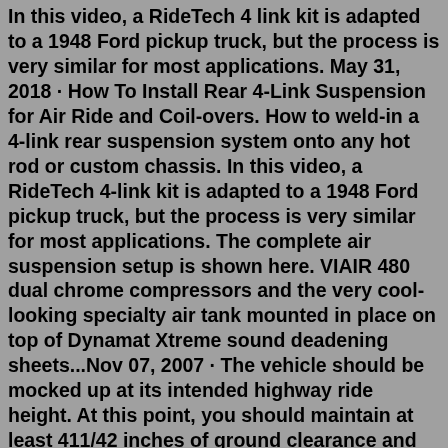In this video, a RideTech 4 link kit is adapted to a 1948 Ford pickup truck, but the process is very similar for most applications. May 31, 2018 · How To Install Rear 4-Link Suspension for Air Ride and Coil-overs. How to weld-in a 4-link rear suspension system onto any hot rod or custom chassis. In this video, a RideTech 4-link kit is adapted to a 1948 Ford pickup truck, but the process is very similar for most applications. The complete air suspension setup is shown here. VIAIR 480 dual chrome compressors and the very cool-looking specialty air tank mounted in place on top of Dynamat Xtreme sound deadening sheets...Nov 07, 2007 · The vehicle should be mocked up at its intended highway ride height. At this point, you should maintain at least 411/42 inches of ground clearance and have adequate suspension travel-at least 3 ... Keep at least 6" of clearance between the air line and heat sources such as exhaust pipes, mufflers or catalytic converter. Avoid sharp bends and edges. Use the plastic tie straps included in your kit to secure the air line to fixed non-moving points along the